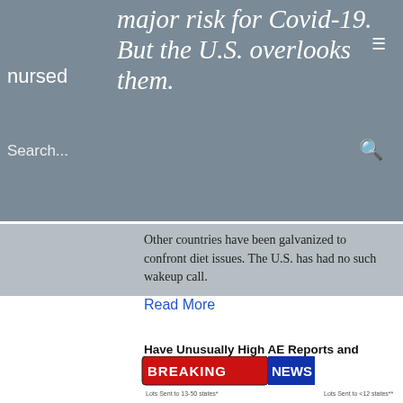major risk for Covid-19. But the U.S. overlooks them.
nursed
Search...
Other countries have been galvanized to confront diet issues. The U.S. has had no such wakeup call.
Read More
Have Unusually High AE Reports and Deaths
[Figure (screenshot): Breaking News banner with data table showing AE Reports and Deaths for Covid-19 vaccine lots]
[Figure (screenshot): Dark banner: DEADLIEST BATCHES OF COVID-19 VACCINE IDENTIFIED - THEEXPOSE.UK. 100% OF COVID-19 VACCINE DEATHS WERE CAUSED BY JUST 5% OF THE BATCHES PRODUCED ACCORDING TO OFFICIAL GOVERNMENT...]
Oct 31, 2021
EXCLUSIVE - 100% of